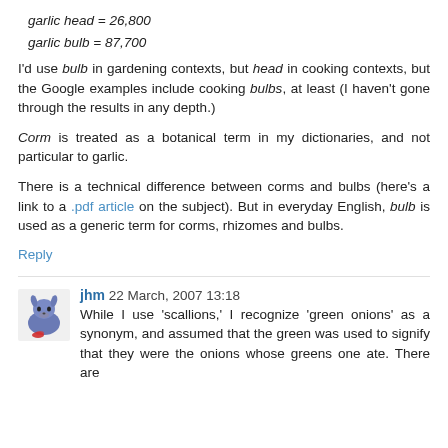garlic head = 26,800
garlic bulb = 87,700
I'd use bulb in gardening contexts, but head in cooking contexts, but the Google examples include cooking bulbs, at least (I haven't gone through the results in any depth.)
Corm is treated as a botanical term in my dictionaries, and not particular to garlic.
There is a technical difference between corms and bulbs (here's a link to a .pdf article on the subject). But in everyday English, bulb is used as a generic term for corms, rhizomes and bulbs.
Reply
jhm 22 March, 2007 13:18
While I use 'scallions,' I recognize 'green onions' as a synonym, and assumed that the green was used to signify that they were the onions whose greens one ate. There are also things called 'bunching onions,' which I believe are different.